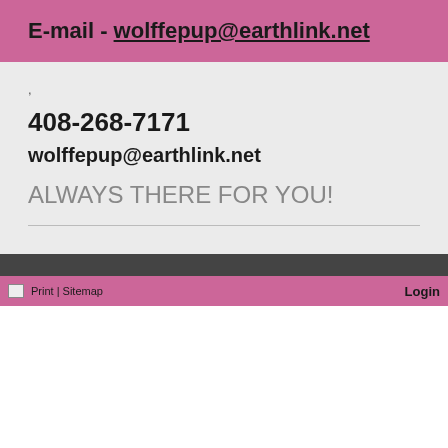E-mail - wolffepup@earthlink.net
,
408-268-7171
wolffepup@earthlink.net
ALWAYS THERE FOR YOU!
Print | Sitemap   Login